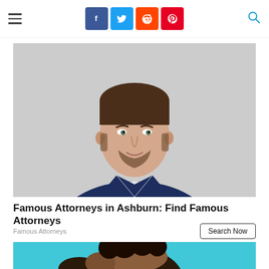Social share bar with Facebook, Twitter, Reddit, Pinterest icons; hamburger menu; search icon
[Figure (photo): Professional headshot of a young man with dark hair and beard wearing a navy blazer over a white shirt, photographed against a light grey background]
Famous Attorneys in Ashburn: Find Famous Attorneys
Famous Attorneys
Search Now
[Figure (photo): Partial headshot of a person with curly dark hair against a teal/cyan background, only top portion of face visible]